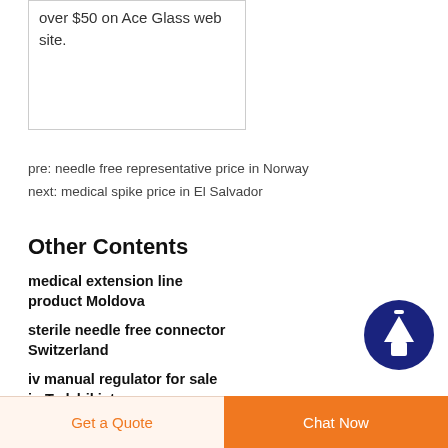over $50 on Ace Glass web site.
pre: needle free representative price in Norway
next: medical spike price in El Salvador
Other Contents
medical extension line product Moldova
sterile needle free connector Switzerland
iv manual regulator for sale in Tadzhikistan
nutrition infusion bag Morocco